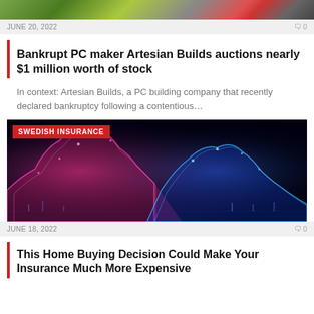[Figure (photo): Top banner image showing tech/gaming hardware with green and red packaging]
JUNE 20, 2022
0
Bankrupt PC maker Artesian Builds auctions nearly $1 million worth of stock
In context: Artesian Builds, a PC building company that recently declared bankruptcy following a contentious…
[Figure (photo): Dark background with colorful neon pink and blue glowing 3D wave/data visualization. Red label reading SWEDISH INSURANCE in top left corner.]
JUNE 18, 2022
0
This Home Buying Decision Could Make Your Insurance Much More Expensive